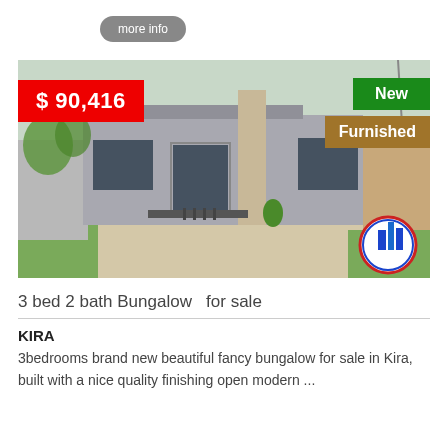more info
[Figure (photo): Exterior photo of a modern single-story bungalow with grey walls, stone accent column, glass sliding door entry, metal fence gate, and green lawn. Real estate agency logo (circular blue buildings on red/white/blue circle) in the lower right corner. Price badge '$90,416' in red top left, 'New' badge in green top right, 'Furnished' badge in brown below 'New'.]
3 bed 2 bath Bungalow  for sale
KIRA
3bedrooms brand new beautiful fancy bungalow for sale in Kira, built with a nice quality finishing open modern ...